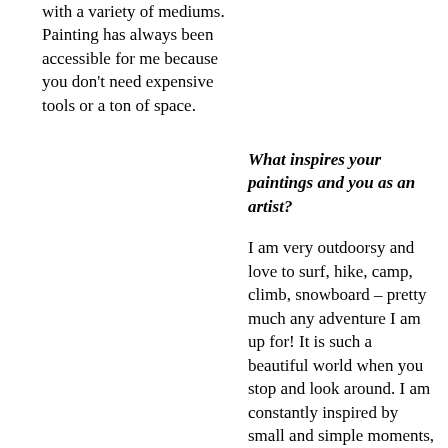with a variety of mediums. Painting has always been accessible for me because you don't need expensive tools or a ton of space.
What inspires your paintings and you as an artist?
I am very outdoorsy and love to surf, hike, camp, climb, snowboard – pretty much any adventure I am up for! It is such a beautiful world when you stop and look around. I am constantly inspired by small and simple moments, like